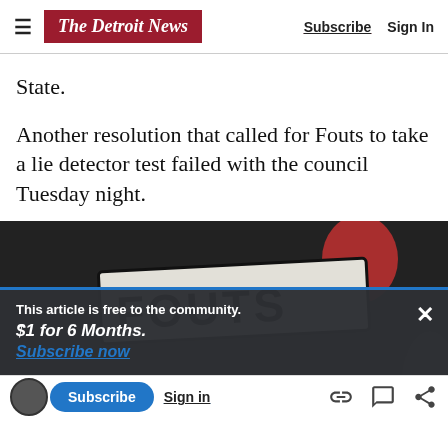The Detroit News | Subscribe  Sign In
State.
Another resolution that called for Fouts to take a lie detector test failed with the council Tuesday night.
[Figure (photo): A protest sign reading 'FOUTS' held up at a public meeting, with a red balloon visible in the background. A paywall overlay is displayed over the image with text: 'This article is free to the community. $1 for 6 Months. Subscribe now']
Subscribe  Sign in